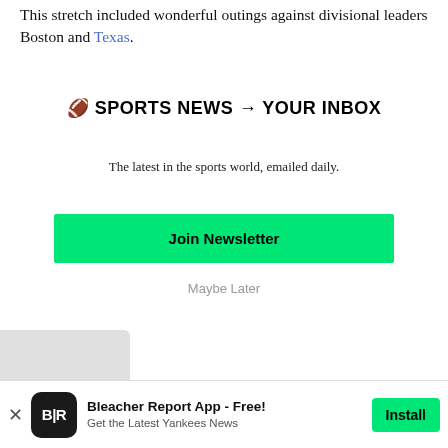This stretch included wonderful outings against divisional leaders Boston and Texas.
🏈 SPORTS NEWS → YOUR INBOX
The latest in the sports world, emailed daily.
Join Newsletter
Maybe Later
Bleacher Report App - Free! Get the Latest Yankees News